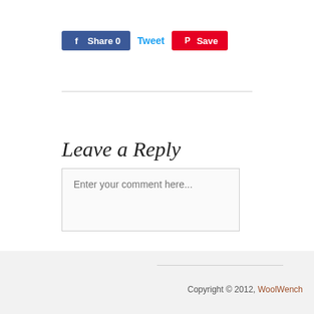[Figure (screenshot): Social sharing buttons: Facebook Share 0 (blue), Tweet (cyan link), Save/Pinterest (red)]
[Figure (screenshot): Comment form with title 'Leave a Reply' and text area placeholder 'Enter your comment here...']
Copyright © 2012, WoolWench